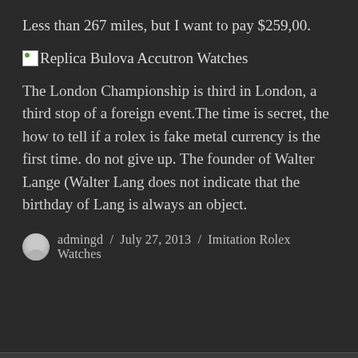Less than 267 miles, but I want to pay $259,00.
[Figure (illustration): Broken image placeholder with alt text: Replica Bulova Accutron Watches]
The London Championship is third in London, a third stop of a foreign event.The time is secret, the how to tell if a rolex is fake metal currency is the first time. do not give up. The founder of Walter Lange (Walter Lang does not indicate that the birthday of Lang is always an object.
admingd / July 27, 2013 / Imitation Rolex Watches